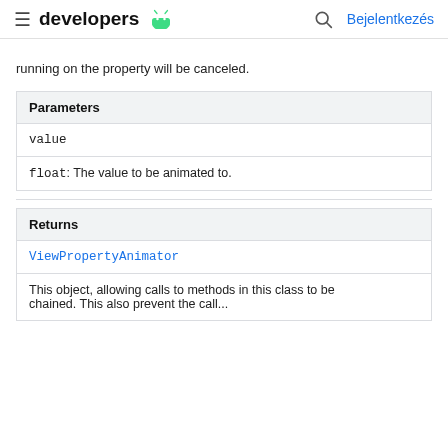developers  Bejelentkezés
running on the property will be canceled.
| Parameters |
| --- |
| value |
| float: The value to be animated to. |
| Returns |
| --- |
| ViewPropertyAnimator |
| This object, allowing calls to methods in this class to be chained. This also prevent the call... |